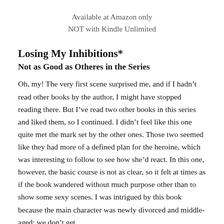Available at Amazon only
NOT with Kindle Unlimited
Losing My Inhibitions*
Not as Good as Otheres in the Series
Oh, my! The very first scene surprised me, and if I hadn’t read other books by the author, I might have stopped reading there. But I’ve read two other books in this series and liked them, so I continued. I didn’t feel like this one quite met the mark set by the other ones. Those two seemed like they had more of a defined plan for the heroine, which was interesting to follow to see how she’d react. In this one, however, the basic course is not as clear, so it felt at times as if the book wandered without much purpose other than to show some sexy scenes. I was intrigued by this book because the main character was newly divorced and middle-aged; we don’t get